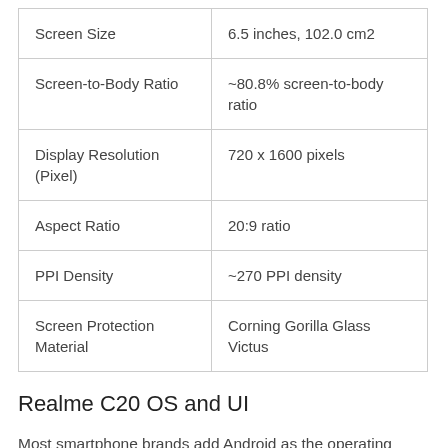|  |  |
| --- | --- |
| Screen Size | 6.5 inches, 102.0 cm2 |
| Screen-to-Body Ratio | ~80.8% screen-to-body ratio |
| Display Resolution (Pixel) | 720 x 1600 pixels |
| Aspect Ratio | 20:9 ratio |
| PPI Density | ~270 PPI density |
| Screen Protection Material | Corning Gorilla Glass Victus |
Realme C20 OS and UI
Most smartphone brands add Android as the operating system; C20 is no different.